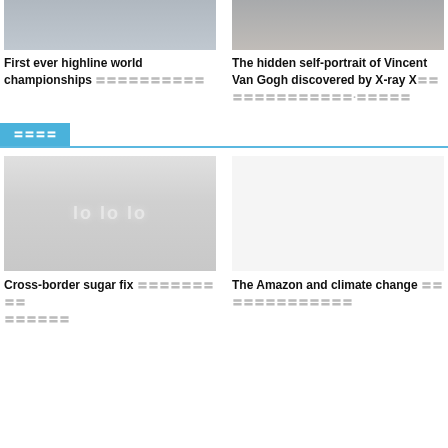[Figure (photo): Top left thumbnail image - highline world championships]
First ever highline world championships 〓〓〓〓〓〓〓〓〓〓
[Figure (photo): Top right thumbnail image - Van Gogh portrait with laptop]
The hidden self-portrait of Vincent Van Gogh discovered by X-ray X〓〓〓〓〓〓〓〓〓〓〓〓〓·〓〓〓〓〓
〓〓〓〓
[Figure (photo): Bottom left thumbnail - cross-border sugar fix article image]
Cross-border sugar fix 〓〓〓〓〓〓〓〓〓 〓〓〓〓〓〓
The Amazon and climate change 〓〓〓〓〓〓〓〓〓〓〓〓〓